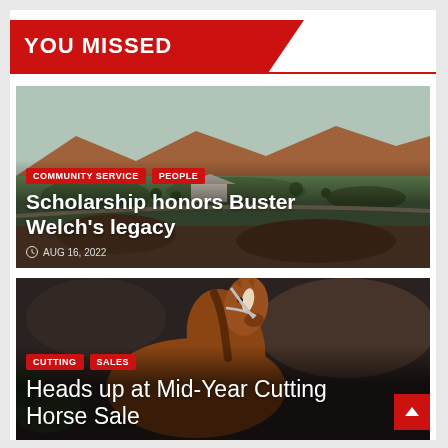YOU MISSED
[Figure (photo): Aerial landscape photo of a ranch with red rock formations, green fields, and a small building, used as background for the first article card]
COMMUNITY SERVICE | PEOPLE
Scholarship honors Buster Welch's legacy
AUG 16, 2022
[Figure (photo): Close-up photo of a horse (chestnut color with white blaze) at what appears to be an indoor equestrian event, used as background for the second article card]
CUTTING | SALES
Heads up at Mid-Year Cutting Horse Sale